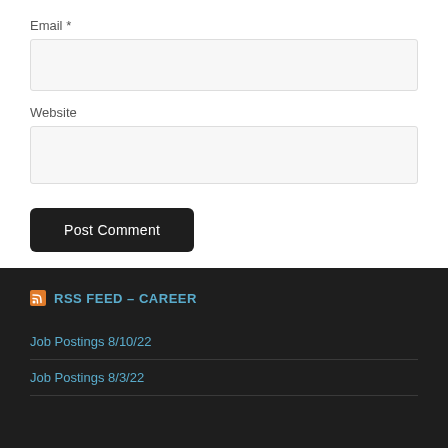Email *
Website
Post Comment
RSS FEED – CAREER
Job Postings 8/10/22
Job Postings 8/3/22